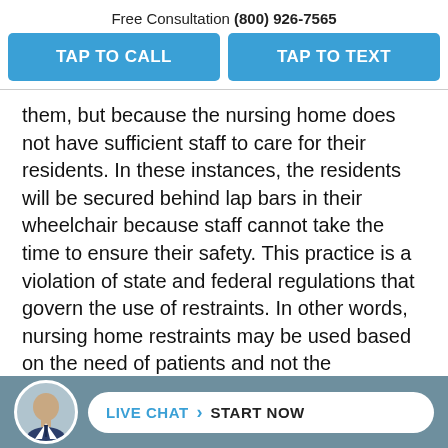Free Consultation (800) 926-7565
[Figure (infographic): Two blue call-to-action buttons: TAP TO CALL and TAP TO TEXT]
them, but because the nursing home does not have sufficient staff to care for their residents. In these instances, the residents will be secured behind lap bars in their wheelchair because staff cannot take the time to ensure their safety. This practice is a violation of state and federal regulations that govern the use of restraints. In other words, nursing home restraints may be used based on the need of patients and not the requirements of the nursing home based on their staffing situation.
[Figure (infographic): Footer bar with avatar photo of a bald man in a suit, and a live chat pill button reading LIVE CHAT > START NOW]